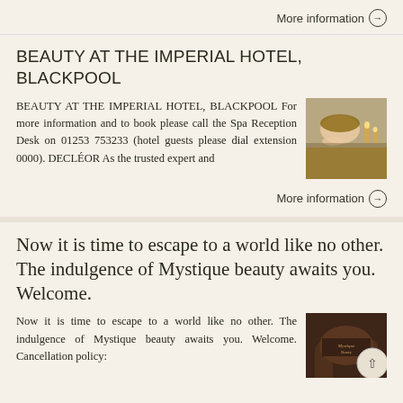More information →
BEAUTY AT THE IMPERIAL HOTEL, BLACKPOOL
BEAUTY AT THE IMPERIAL HOTEL, BLACKPOOL For more information and to book please call the Spa Reception Desk on 01253 753233 (hotel guests please dial extension 0000). DECLÉOR As the trusted expert and
[Figure (photo): Spa treatment photo showing a person receiving a beauty treatment]
More information →
Now it is time to escape to a world like no other. The indulgence of Mystique beauty awaits you. Welcome.
Now it is time to escape to a world like no other. The indulgence of Mystique beauty awaits you. Welcome. Cancellation policy:
[Figure (photo): Dark atmospheric spa or hotel interior image with text overlay showing 'Mystique Beauty']